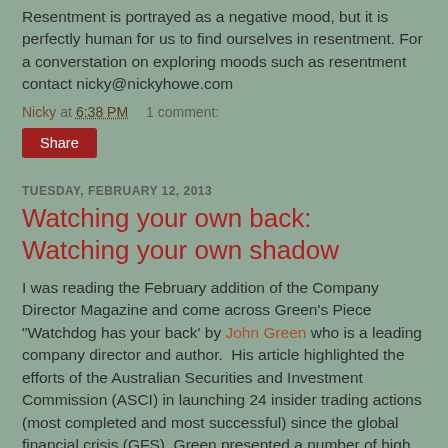Resentment is portrayed as a negative mood, but it is perfectly human for us to find ourselves in resentment. For a converstation on exploring moods such as resentment contact nicky@nickyhowe.com
Nicky at 6:38 PM    1 comment:
Share
TUESDAY, FEBRUARY 12, 2013
Watching your own back: Watching your own shadow
I was reading the February addition of the Company Director Magazine and come across Green's Piece “Watchdog has your back’ by John Green who is a leading company director and author.  His article highlighted the efforts of the Australian Securities and Investment Commission (ASCI) in launching 24 insider trading actions (most completed and most successful) since the global financial crisis (GFS). Green presented a number of high profile cases (Gupta,